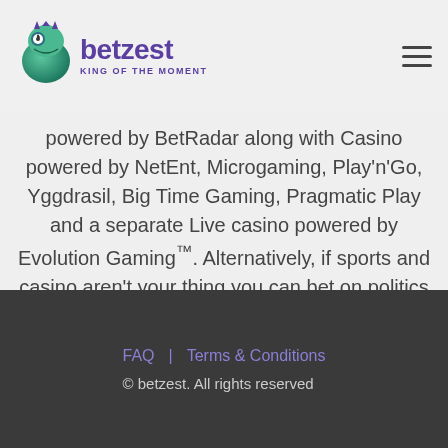[Figure (logo): Betzest logo with chameleon icon and tagline 'KING OF THE MOMENT']
powered by BetRadar along with Casino powered by NetEnt, Microgaming, Play'n'Go, Yggdrasil, Big Time Gaming, Pragmatic Play and a separate Live casino powered by Evolution Gaming™. Alternatively, if sports and casino aren't your thing you can bet on politics instead.
FAQ | Terms & Conditions
© betzest. All rights reserved